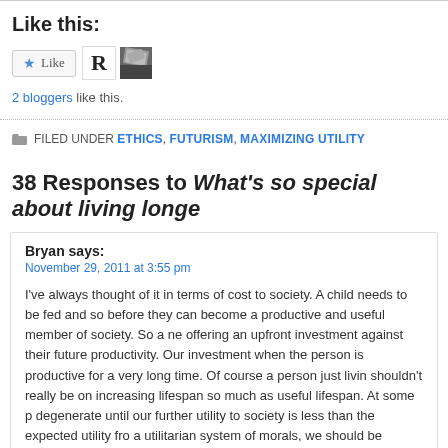Like this:
[Figure (other): Like button with star icon, and two blogger avatars (R initial and photo)]
2 bloggers like this.
FILED UNDER ETHICS, FUTURISM, MAXIMIZING UTILITY
38 Responses to What's so special about living longer?
Bryan says:
November 29, 2011 at 3:55 pm
I've always thought of it in terms of cost to society. A child needs to be fed and so before they can become a productive and useful member of society. So a new offering an upfront investment against their future productivity. Our investment when the person is productive for a very long time. Of course a person just livin shouldn't really be on increasing lifespan so much as useful lifespan. At some p degenerate until our further utility to society is less than the expected utility fro a utilitarian system of morals, we should be focusing on making this point as cl possible, rather than just trying to make the lifespan longer.
Like